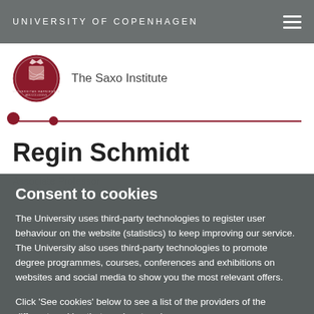UNIVERSITY OF COPENHAGEN
[Figure (logo): University of Copenhagen crest/seal logo in dark red, circular with crown and heraldic elements]
The Saxo Institute
Regin Schmidt
Consent to cookies
The University uses third-party technologies to register user behaviour on the website (statistics) to keep improving our service. The University also uses third-party technologies to promote degree programmes, courses, conferences and exhibitions on websites and social media to show you the most relevant offers.
Click 'See cookies' below to see a list of the providers of the different cookies that can be stored on your